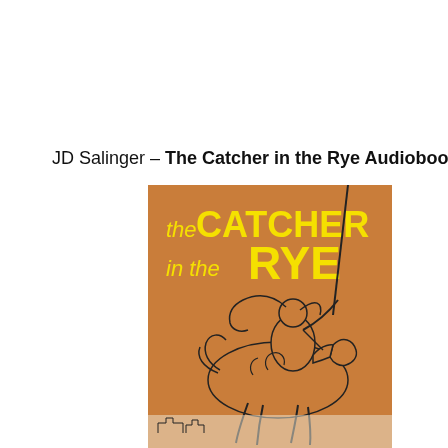JD Salinger – The Catcher in the Rye Audiobook
[Figure (illustration): Book cover of 'The Catcher in the Rye' by JD Salinger. Orange/brown background with yellow bold text reading 'the CATCHER in the RYE'. Line drawing of a horse and rider with flowing hair and a lance.]